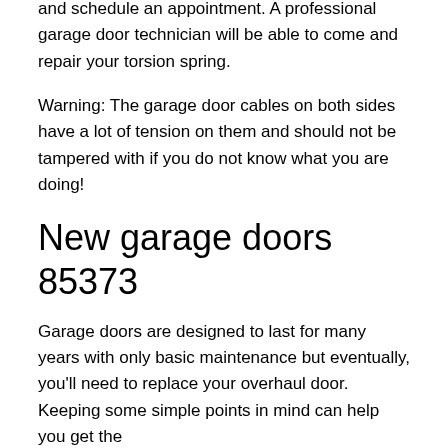and schedule an appointment. A professional garage door technician will be able to come and repair your torsion spring.
Warning: The garage door cables on both sides have a lot of tension on them and should not be tampered with if you do not know what you are doing!
New garage doors 85373
Garage doors are designed to last for many years with only basic maintenance but eventually, you'll need to replace your overhaul door. Keeping some simple points in mind can help you get the